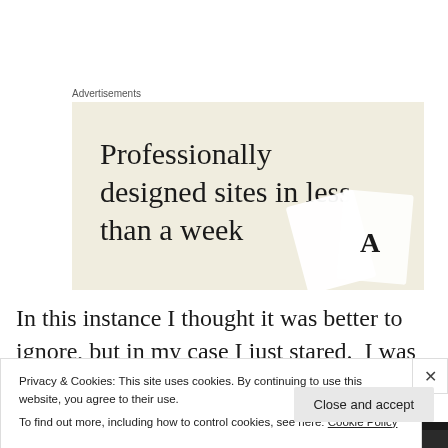Advertisements
[Figure (illustration): Advertisement banner with beige/cream background showing text 'Professionally designed sites in less than a week' with decorative card/design elements in bottom right corner.]
In this instance I thought it was better to ignore, but in my case I just stared.  I was staring as I wanted to check out
Privacy & Cookies: This site uses cookies. By continuing to use this website, you agree to their use.
To find out more, including how to control cookies, see here: Cookie Policy
Close and accept